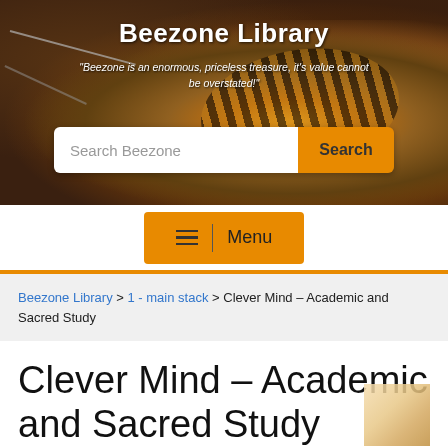[Figure (photo): Close-up macro photo of a honey bee on a flower, used as hero background for Beezone Library website header]
Beezone Library
"Beezone is an enormous, priceless treasure, it's value cannot be overstated!"
Search Beezone [Search button]
≡ | Menu
Beezone Library > 1 - main stack > Clever Mind – Academic and Sacred Study
Clever Mind – Academic and Sacred Study